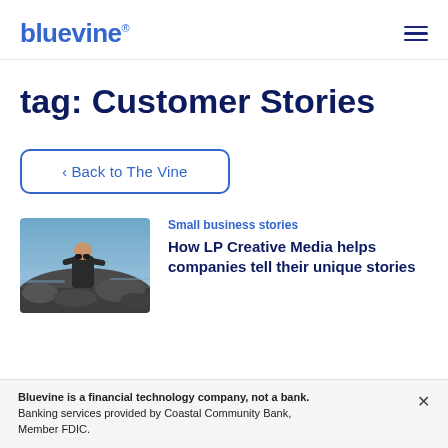bluevine
tag: Customer Stories
‹ Back to The Vine
Small business stories
How LP Creative Media helps companies tell their unique stories
[Figure (photo): A person looking through binoculars at a rocky coastal scene]
Bluevine is a financial technology company, not a bank. Banking services provided by Coastal Community Bank, Member FDIC.